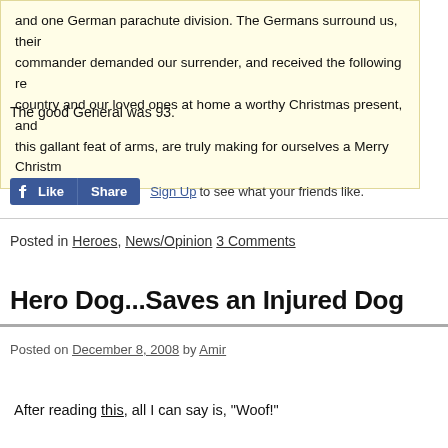and one German parachute division. The Germans surround us, their commander demanded our surrender, and received the following re... country and our loved ones at home a worthy Christmas present, and... this gallant feat of arms, are truly making for ourselves a Merry Christm...
The good General was 93.
[Figure (other): Facebook Like and Share buttons, followed by Sign Up link and text 'to see what your friends like.']
Posted in Heroes, News/Opinion 3 Comments
Hero Dog...Saves an Injured Dog
Posted on December 8, 2008 by Amir
After reading this, all I can say is, "Woof!"